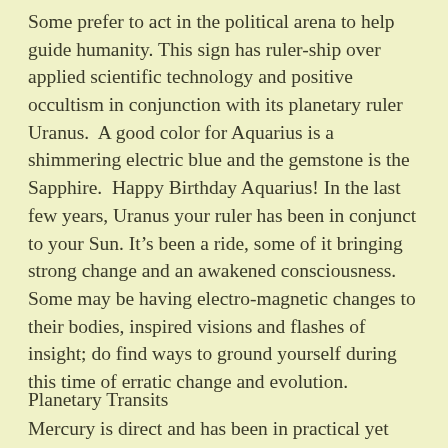Some prefer to act in the political arena to help guide humanity. This sign has ruler-ship over applied scientific technology and positive occultism in conjunction with its planetary ruler Uranus. A good color for Aquarius is a shimmering electric blue and the gemstone is the Sapphire. Happy Birthday Aquarius! In the last few years, Uranus your ruler has been in conjunct to your Sun. It's been a ride, some of it bringing strong change and an awakened consciousness. Some may be having electro-magnetic changes to their bodies, inspired visions and flashes of insight; do find ways to ground yourself during this time of erratic change and evolution.
Planetary Transits
Mercury is direct and has been in practical yet